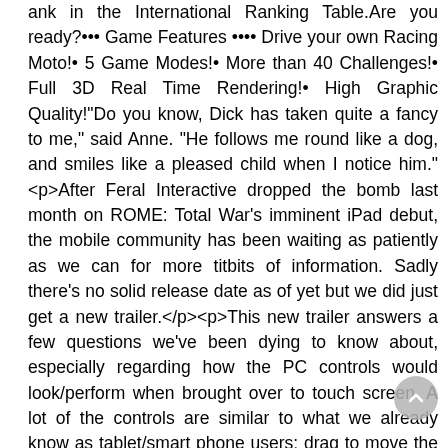ank in the International Ranking Table.Are you ready?••• Game Features •••• Drive your own Racing Moto!• 5 Game Modes!• More than 40 Challenges!• Full 3D Real Time Rendering!• High Graphic Quality!"Do you know, Dick has taken quite a fancy to me," said Anne. "He follows me round like a dog, and smiles like a pleased child when I notice him."<p>After Feral Interactive dropped the bomb last month on ROME: Total War's imminent iPad debut, the mobile community has been waiting as patiently as we can for more titbits of information. Sadly there's no solid release date as of yet but we did just get a new trailer.</p><p>This new trailer answers a few questions we've been dying to know about, especially regarding how the PC controls would look/perform when brought over to touch screen. A lot of the controls are similar to what we already know as tablet/smart phone users: drag to move the camera around, pinch to zoom, rotate using your thumb and finger, etc.</p><p>A pretty neat use of it s touch screen status is how you can select units, either by tapping